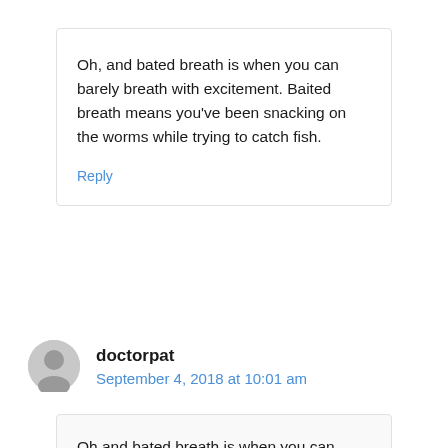Oh, and bated breath is when you can barely breath with excitement. Baited breath means you've been snacking on the worms while trying to catch fish.
Reply
doctorpat
September 4, 2018 at 10:01 am
Oh and bated breath is when you can